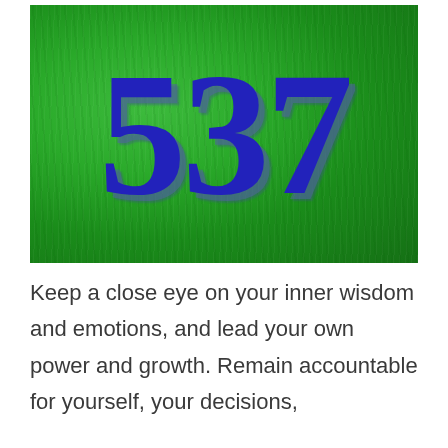[Figure (illustration): Green grass background with the number 537 displayed in large bold dark blue serif font with a shadow effect]
Keep a close eye on your inner wisdom and emotions, and lead your own power and growth. Remain accountable for yourself, your decisions,